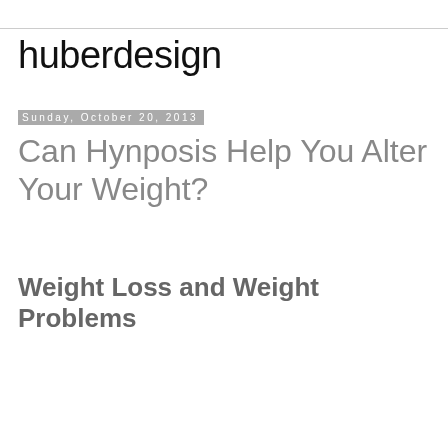huberdesign
Can Hynposis Help You Alter Your Weight?
Sunday, October 20, 2013
Weight Loss and Weight Problems